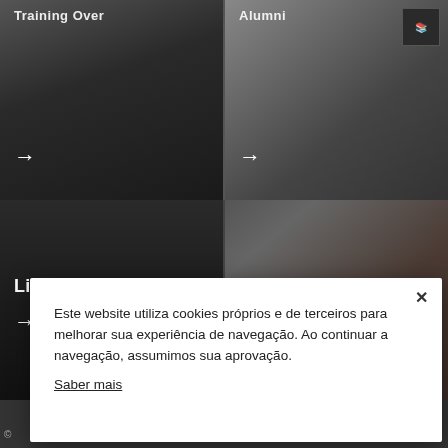[Figure (screenshot): Top-left panel: dark image of a person carrying rolled fabric/material, with 'Training Over' title and arrow]
[Figure (screenshot): Top-right panel: image of a person, 'Alumni' section with dark card/book icon in corner, arrow]
[Figure (screenshot): Middle-left panel: dark leather/material texture image, 'Living' label and arrow]
[Figure (screenshot): Middle-right panel: image of open hand/palm, 'Social Action' label and arrow]
Este website utiliza cookies próprios e de terceiros para melhorar sua experiência de navegação. Ao continuar a navegação, assumimos sua aprovação.
Saber mais